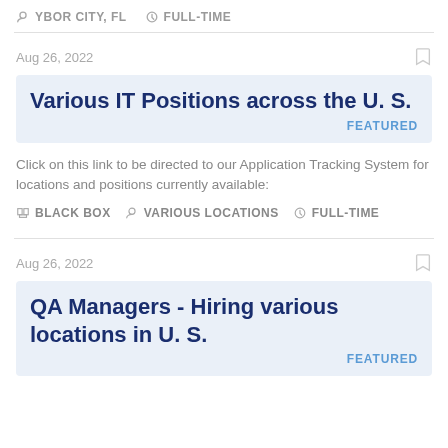YBOR CITY, FL  FULL-TIME
Aug 26, 2022
Various IT Positions across the U. S.
FEATURED
Click on this link to be directed to our Application Tracking System for locations and positions currently available:
BLACK BOX  VARIOUS LOCATIONS  FULL-TIME
Aug 26, 2022
QA Managers - Hiring various locations in U. S.
FEATURED